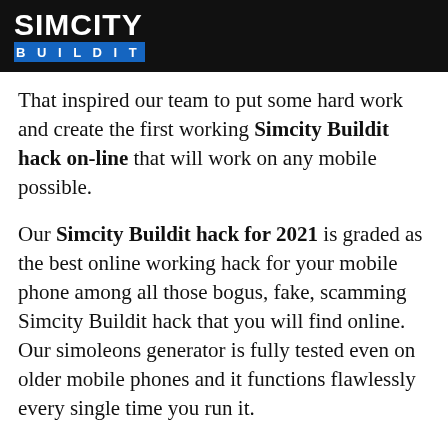[Figure (logo): SimCity BuildIt logo — white bold text on black background, with BUILDIT in white text on a blue bar beneath]
That inspired our team to put some hard work and create the first working Simcity Buildit hack online that will work on any mobile possible.
Our Simcity Buildit hack for 2021 is graded as the best online working hack for your mobile phone among all those bogus, fake, scamming Simcity Buildit hack that you will find online. Our simoleons generator is fully tested even on older mobile phones and it functions flawlessly every single time you run it.
You are about to improve your gameplay by turning into the best Simcity Buildit gamer and win the game, only by using our innovative Simcity